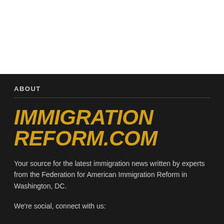[Figure (other): White area at top of page representing main content area]
ABOUT
IMMIGRATION REFORM.COM
Your source for the latest immigration news written by experts from the Federation for American Immigration Reform in Washington, DC.
We're social, connect with us: